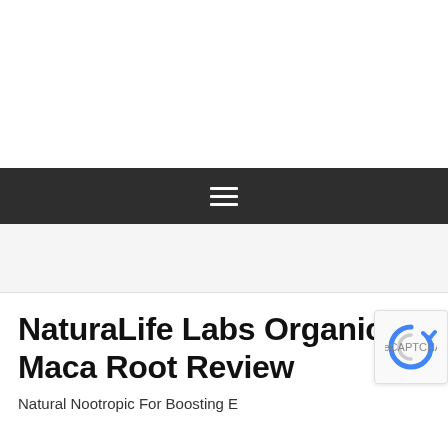[Figure (other): Dark navigation bar with hamburger menu icon (three white horizontal lines)]
[Figure (other): Light gray advertisement/banner placeholder bar]
NaturaLife Labs Organic Maca Root Review
Natural Nootropic For Boosting E...